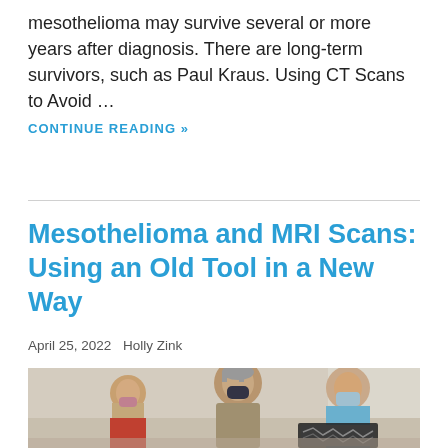mesothelioma may survive several or more years after diagnosis. There are long-term survivors, such as Paul Kraus. Using CT Scans to Avoid …
CONTINUE READING »
Mesothelioma and MRI Scans: Using an Old Tool in a New Way
April 25, 2022  Holly Zink
[Figure (photo): A doctor wearing a blue medical mask reviews a scan/X-ray with an older male patient wearing a dark mask, while another masked patient is seated in the background. Clinical setting.]